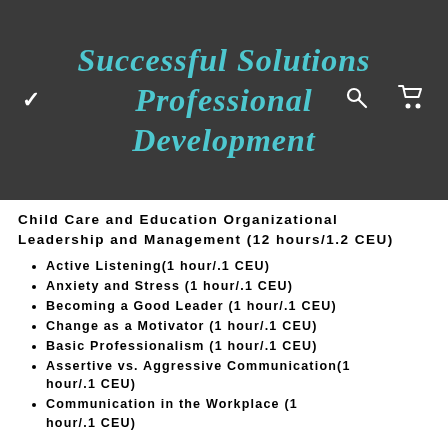Successful Solutions Professional Development
Child Care and Education Organizational Leadership and Management (12 hours/1.2 CEU)
Active Listening(1 hour/.1 CEU)
Anxiety and Stress (1 hour/.1 CEU)
Becoming a Good Leader (1 hour/.1 CEU)
Change as a Motivator (1 hour/.1 CEU)
Basic Professionalism (1 hour/.1 CEU)
Assertive vs. Aggressive Communication(1 hour/.1 CEU)
Communication in the Workplace (1 hour/.1 CEU)